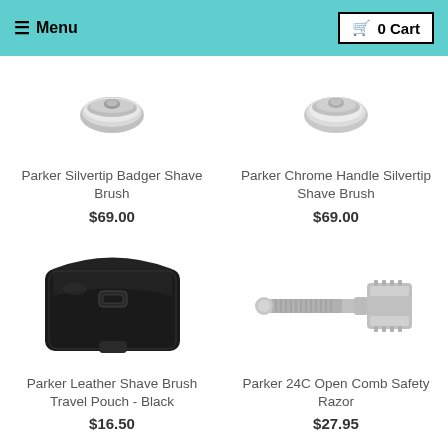☰ Menu   🛒 0 Cart
[Figure (photo): Partial view of Parker Silvertip Badger Shave Brush, showing metal ferrule/base from top]
Parker Silvertip Badger Shave Brush
$69.00
[Figure (photo): Partial view of Parker Chrome Handle Silvertip Shave Brush, showing chrome ferrule/base from top]
Parker Chrome Handle Silvertip Shave Brush
$69.00
[Figure (photo): Parker Leather Shave Brush Travel Pouch in Black, rectangular black leather pouch with snap closure]
Parker Leather Shave Brush Travel Pouch - Black
$16.50
[Figure (photo): Parker 24C Open Comb Safety Razor, chrome safety razor shown horizontally]
Parker 24C Open Comb Safety Razor
$27.95